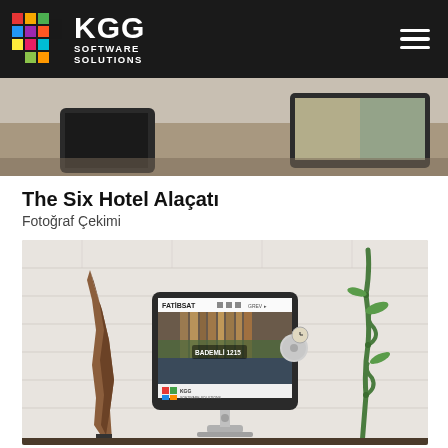KGG Software Solutions
[Figure (photo): Partial view of a desk workspace with a phone, keyboard and tablet/monitor visible — top strip photo]
The Six Hotel Alaçatı
Fotoğraf Çekimi
[Figure (photo): iMac computer on a desk with a wooden sculpture on the left and a spiral bamboo plant on the right. The monitor displays the Fatibsat website with a building exterior image and text 'BADEMLİ 1215'. KGG Software Solutions logo visible on screen.]